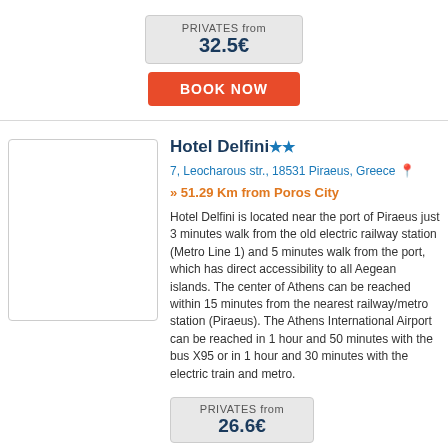PRIVATES from 32.5€
BOOK NOW
Hotel Delfini ★★
7, Leocharous str., 18531 Piraeus, Greece
» 51.29 Km from Poros City
Hotel Delfini is located near the port of Piraeus just 3 minutes walk from the old electric railway station (Metro Line 1) and 5 minutes walk from the port, which has direct accessibility to all Aegean islands. The center of Athens can be reached within 15 minutes from the nearest railway/metro station (Piraeus). The Athens International Airport can be reached in 1 hour and 50 minutes with the bus X95 or in 1 hour and 30 minutes with the electric train and metro.
PRIVATES from 26.6€
BOOK NOW